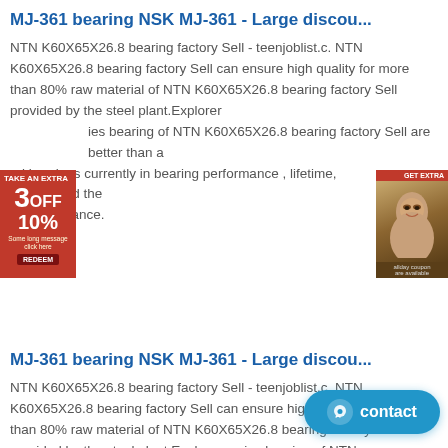MJ-361 bearing NSK MJ-361 - Large discou...
NTN K60X65X26.8 bearing factory Sell - teenjoblist.c. NTN K60X65X26.8 bearing factory Sell can ensure high quality for more than 80% raw material of NTN K60X65X26.8 bearing factory Sell provided by the steel plant.Explorer series bearing of NTN K60X65X26.8 bearing factory Sell are better than any brand bearings currently in bearing performance , lifetime, design, and the use of performance.
[Figure (other): Left advertisement banner: red background, '3OFF 10%' text, promotional offer]
[Figure (other): Right advertisement banner: brown background, woman's face, promotional]
MJ-361 bearing NSK MJ-361 - Large discou...
NTN K60X65X26.8 bearing factory Sell - teenjoblist.c. NTN K60X65X26.8 bearing factory Sell can ensure high quality for more than 80% raw material of NTN K60X65X26.8 bearing factory Sell provided by the steel plant.Explorer series bearing of NTN K60X65X26.8 bearing factory Sell are better than any brand bearings currently in bearing performance , lifetime, design, and the use of performance.
NACHI UCFL210 bearing, Bearing units UCFL2...
UCFL210 NACHI bearing, NACHI UCFL210 bearing, Size: . NACHI UCFL210 are used in a wide variety of applications, suitable for high speeds and are robust in operation, and need little maintenance.
MJ-361 bearing NSK MJ-361 - Large discou...
[Figure (other): Contact button: blue rounded rectangle with chat icon and 'contact' text]